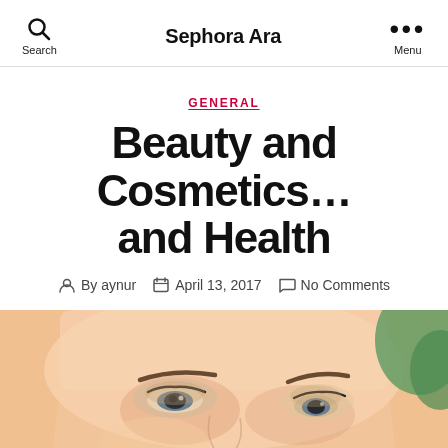Search  Sephora Ara  Menu
GENERAL
Beauty and Cosmetics… and Health
By aynur  April 13, 2017  No Comments
[Figure (photo): Close-up photo of a woman's face with natural makeup, showing eyes with mascara and subtle eyeshadow, light skin tone, cropped from forehead to chin]